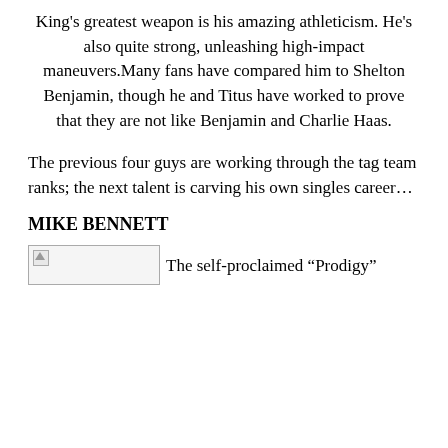King's greatest weapon is his amazing athleticism. He's also quite strong, unleashing high-impact maneuvers.Many fans have compared him to Shelton Benjamin, though he and Titus have worked to prove that they are not like Benjamin and Charlie Haas.
The previous four guys are working through the tag team ranks; the next talent is carving his own singles career…
MIKE BENNETT
[Figure (photo): Broken image placeholder with caption: The self-proclaimed "Prodigy"]
The self-proclaimed “Prodigy”